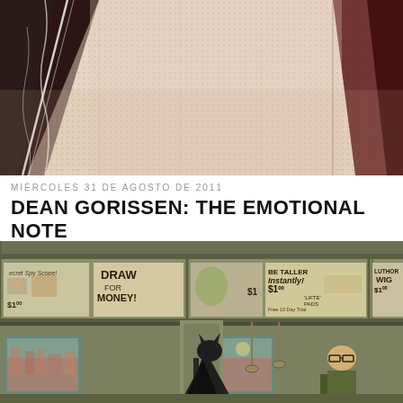[Figure (illustration): Close-up macro photograph of a woven textile/fabric showing a halftone or dotted texture pattern. Colors are pinkish-cream/beige with dark black and burgundy/red diagonal stripes across the left and right sides.]
MIÉRCOLES 31 DE AGOSTO DE 2011
DEAN GORISSEN: THE EMOTIONAL NOTE
[Figure (illustration): Illustrated/painted scene of a vintage subway car interior. The upper portion shows comic book style advertisement panels including: 'Secret Spy Scope! $1.00', 'DRAW FOR MONEY!', a monster ad for '$1', 'BE TALLER Instantly! $1.00 LIFTE PADS Free 10 Day Trial', and 'LUTHOR WIG $1.00'. Below the ads are windows showing a city skyline. In the lower portion are stylized illustrated figures of passengers including a Batman-like character in a black cape and a figure with glasses, rendered in a retro comic book style with muted olive/khaki color palette.]